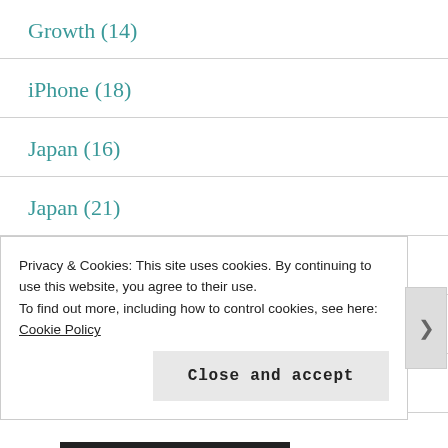Growth (14)
iPhone (18)
Japan (16)
Japan (21)
Korea (3)
Leadership (1)
LEGO (5)
Privacy & Cookies: This site uses cookies. By continuing to use this website, you agree to their use.
To find out more, including how to control cookies, see here: Cookie Policy
Close and accept